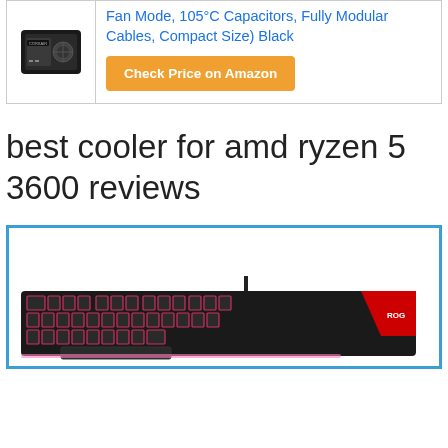[Figure (photo): Product listing card showing a Corsair power supply unit image on the left and product title text and Amazon button on the right]
best cooler for amd ryzen 5 3600 reviews
[Figure (photo): Photo of an ASUS ROG gaming keyboard with RGB backlit keys inside a blue-bordered product box]